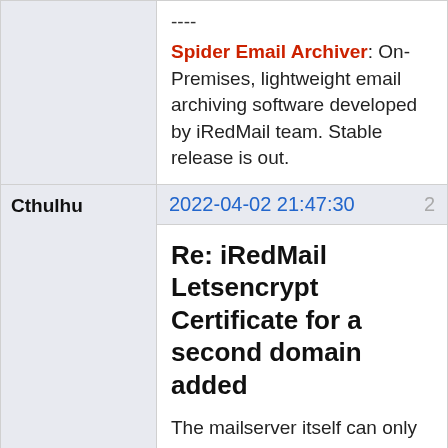----
Spider Email Archiver: On-Premises, lightweight email archiving software developed by iRedMail team. Stable release is out.
2022-04-02 21:47:30	2
Re: iRedMail Letsencrypt Certificate for a second domain added
The mailserver itself can only serve a single cert to identify itself, you need to use the cert that matches the mailservers helo name.
for example:
your mailserver is named: mail.example.com